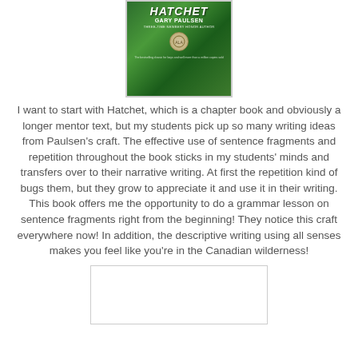[Figure (photo): Book cover of Hatchet by Gary Paulsen — green forest background with a hatchet and silhouette, Newbery Honor medal visible]
I want to start with Hatchet, which is a chapter book and obviously a longer mentor text, but my students pick up so many writing ideas from Paulsen's craft. The effective use of sentence fragments and repetition throughout the book sticks in my students' minds and transfers over to their narrative writing. At first the repetition kind of bugs them, but they grow to appreciate it and use it in their writing. This book offers me the opportunity to do a grammar lesson on sentence fragments right from the beginning! They notice this craft everywhere now! In addition, the descriptive writing using all senses makes you feel like you're in the Canadian wilderness!
[Figure (photo): Partially visible image at the bottom of the page, appears to be another book or document image]